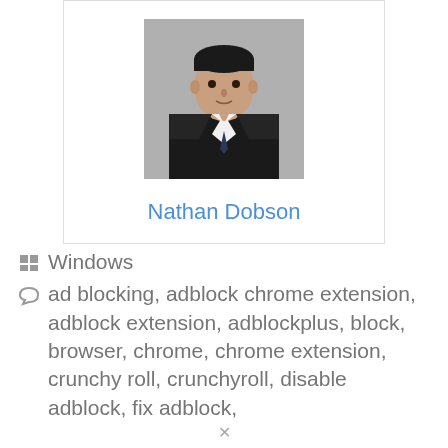[Figure (photo): Profile photo of Nathan Dobson, a man in a dark suit and tie]
Nathan Dobson
Windows
ad blocking, adblock chrome extension, adblock extension, adblockplus, block, browser, chrome, chrome extension, crunchy roll, crunchyroll, disable adblock, fix adblock,